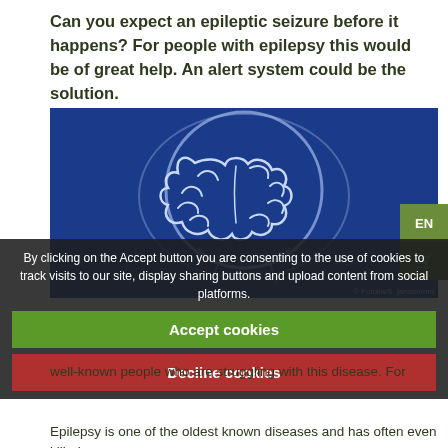Can you expect an epileptic seizure before it happens? For people with epilepsy this would be of great help. An alert system could be the solution.
[Figure (illustration): Chalk-style drawing of a human head profile with a brain illustration on a dark blue background]
By clicking on the Accept button you are consenting to the use of cookies to track visits to our site, display sharing buttons and upload content from social platforms.
Accept cookies
Julius Cezar, Napoleon, Michelangelo, Georg Friedrich Handel and well-known people who are struggling with this disease. For example,
Decline cookies
Epilepsy is one of the oldest known diseases and has often even killed